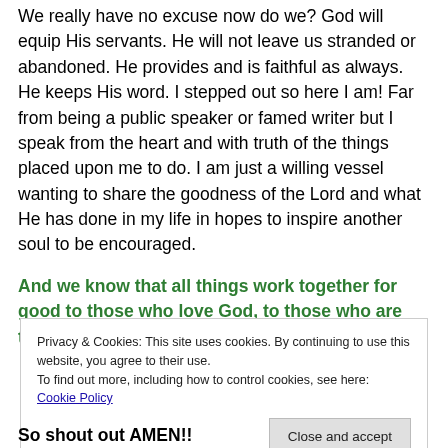We really have no excuse now do we? God will equip His servants. He will not leave us stranded or abandoned. He provides and is faithful as always. He keeps His word. I stepped out so here I am! Far from being a public speaker or famed writer but I speak from the heart and with truth of the things placed upon me to do. I am just a willing vessel wanting to share the goodness of the Lord and what He has done in my life in hopes to inspire another soul to be encouraged.
And we know that all things work together for good to those who love God, to those who are the called
Privacy & Cookies: This site uses cookies. By continuing to use this website, you agree to their use.
To find out more, including how to control cookies, see here: Cookie Policy
Close and accept
So shout out AMEN!!